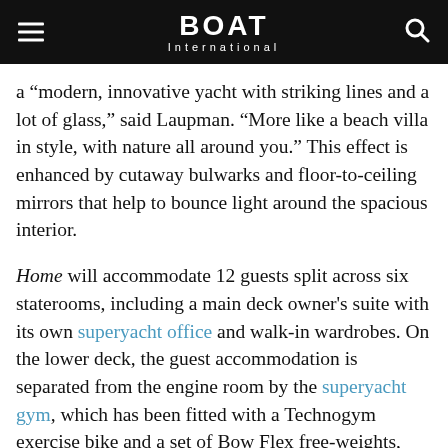BOAT International
a “modern, innovative yacht with striking lines and a lot of glass,” said Laupman. “More like a beach villa in style, with nature all around you.” This effect is enhanced by cutaway bulwarks and floor-to-ceiling mirrors that help to bounce light around the spacious interior.
Home will accommodate 12 guests split across six staterooms, including a main deck owner’s suite with its own superyacht office and walk-in wardrobes. On the lower deck, the guest accommodation is separated from the engine room by the superyacht gym, which has been fitted with a Technogym exercise bike and a set of Bow Flex free-weights, while a zero-speed stabilisation system further enhances her blue water cruising credentials. Tender storage is provided via a foredeck crane, leaving